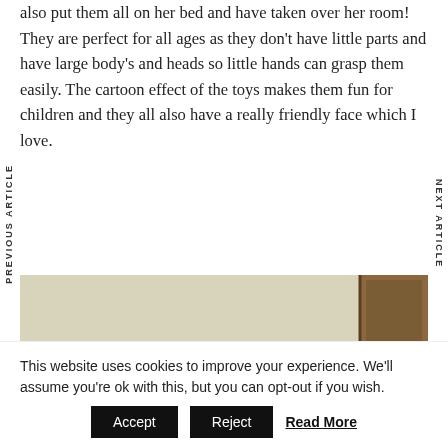also put them all on her bed and have taken over her room! They are perfect for all ages as they don't have little parts and have large body's and heads so little hands can grasp them easily. The cartoon effect of the toys makes them fun for children and they all also have a really friendly face which I love.
[Figure (photo): A young blonde child viewed from behind, near a wooden door in a room with light-colored walls.]
This website uses cookies to improve your experience. We'll assume you're ok with this, but you can opt-out if you wish. Accept Reject Read More